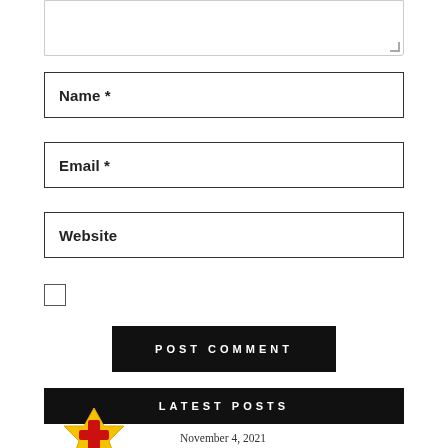[Figure (screenshot): Textarea input field (top, partially visible)]
Name *
Email *
Website
[Figure (screenshot): Checkbox (unchecked)]
POST COMMENT
LATEST POSTS
November 4, 2021
[Figure (logo): Soli Deo Gloria Christian Church logo - yellow star/cross shape with red cross]
Soli Deo Gloria Christian Church